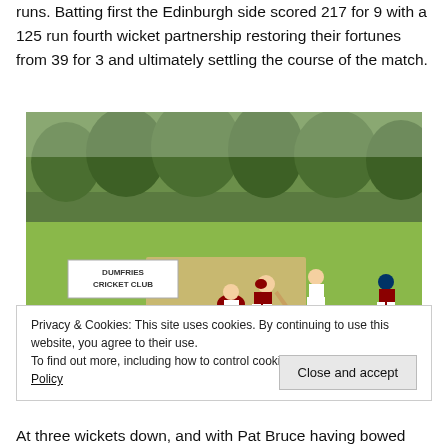runs. Batting first the Edinburgh side scored 217 for 9 with a 125 run fourth wicket partnership restoring their fortunes from 39 for 3 and ultimately settling the course of the match.
[Figure (photo): A cricket match being played at Dumfries Cricket Club. Players in maroon uniforms are batting and fielding on a green grass pitch. A white sign reading 'DUMFRIES CRICKET CLUB' is visible in the background along with trees.]
Privacy & Cookies: This site uses cookies. By continuing to use this website, you agree to their use.
To find out more, including how to control cookies, see here: Cookie Policy
At three wickets down, and with Pat Bruce having bowed